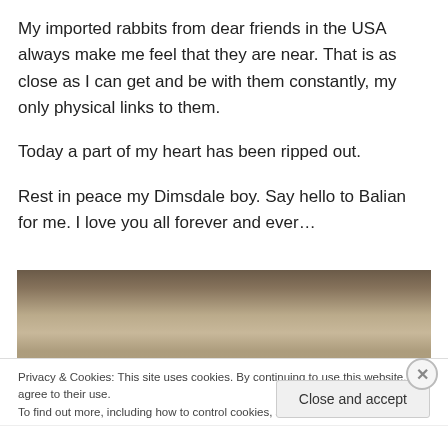My imported rabbits from dear friends in the USA always make me feel that they are near. That is as close as I can get and be with them constantly, my only physical links to them.
Today a part of my heart has been ripped out.
Rest in peace my Dimsdale boy. Say hello to Balian for me. I love you all forever and ever…
[Figure (photo): A blurred/muted photo strip showing what appears to be an animal (rabbit) among foliage or natural setting, in desaturated warm tones.]
Privacy & Cookies: This site uses cookies. By continuing to use this website, you agree to their use.
To find out more, including how to control cookies, see here: Cookie Policy